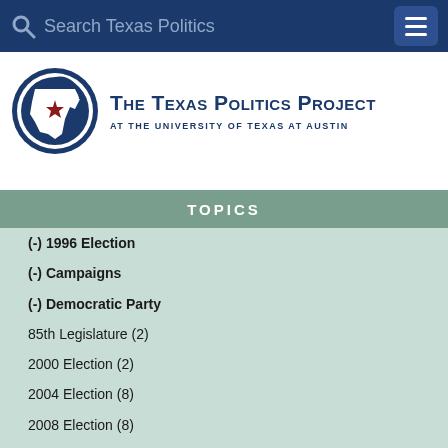Search Texas Politics
[Figure (logo): The Texas Politics Project at the University of Texas at Austin logo with Texas star icon]
TOPICS
(-) 1996 Election
(-) Campaigns
(-) Democratic Party
85th Legislature (2)
2000 Election (2)
2004 Election (8)
2008 Election (8)
2012 Election (2)
2014 Election (2)
2016 Election (11)